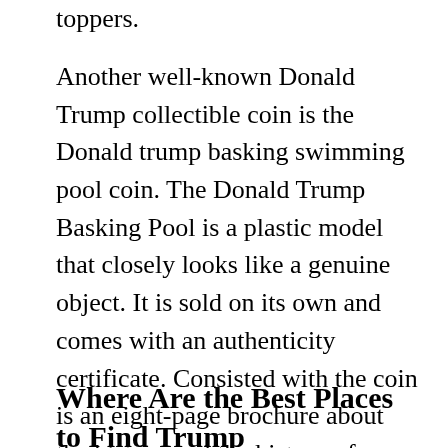toppers.
Another well-known Donald Trump collectible coin is the Donald trump basking swimming pool coin. The Donald Trump Basking Pool is a plastic model that closely looks like a genuine object. It is sold on its own and comes with an authenticity certificate. Consisted with the coin is an eight-page brochure about the history and the history of Donald Trump brand and how it became so well-known.
Where Are the Best Places to Find Trump